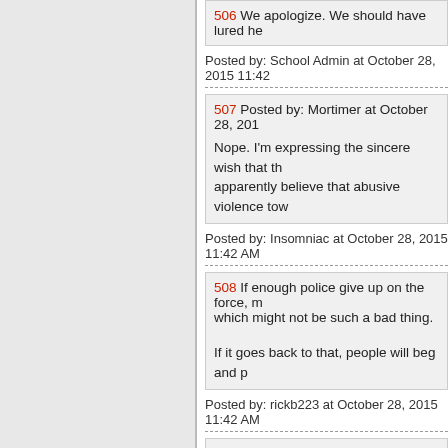506 We apologize. We should have lured he...
Posted by: School Admin at October 28, 2015 11:42...
507 Posted by: Mortimer at October 28, 201...
Nope. I'm expressing the sincere wish that th... apparently believe that abusive violence tow...
Posted by: Insomniac at October 28, 2015 11:42 AM
508 If enough police give up on the force, m... which might not be such a bad thing.
If it goes back to that, people will beg and p...
Posted by: rickb223 at October 28, 2015 11:42 AM
509 Posted by: Bertram Cabot Jr. at October...
Sigh, apparently I cannot do tenses today. A... find any news about the DC rally, only the d...